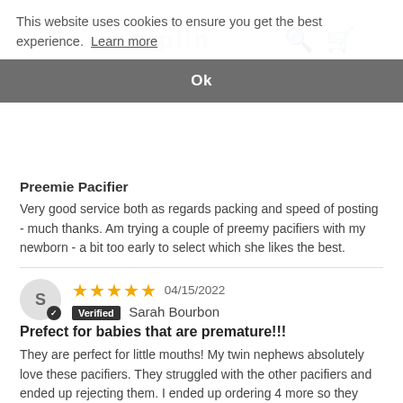This website uses cookies to ensure you get the best experience. Learn more
Ok
Preemie Pacifier
Very good service both as regards packing and speed of posting - much thanks. Am trying a couple of preemy pacifiers with my newborn - a bit too early to select which she likes the best.
★★★★★ 04/15/2022
Verified Sarah Bourbon
Prefect for babies that are premature!!!
They are perfect for little mouths! My twin nephews absolutely love these pacifiers. They struggled with the other pacifiers and ended up rejecting them. I ended up ordering 4 more so they each have 2 backup pacifiers just